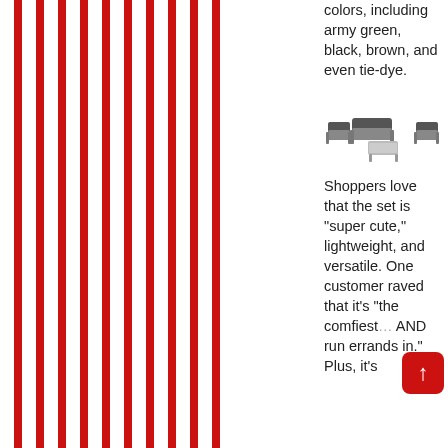[Figure (illustration): Alternating vertical red and white stripes covering the left portion of the page]
colors, including army green, black, brown, and even tie-dye.
[Figure (photo): Outdoor patio furniture set with dark cushions including a loveseat, two chairs, and a coffee table with metal frames]
Shoppers love that the set is "super cute," lightweight, and versatile. One customer raved that it's "the comfiest... AND run errands in." Plus, it's
[Figure (other): Scroll-to-top button with upward arrow, red rounded rectangle]